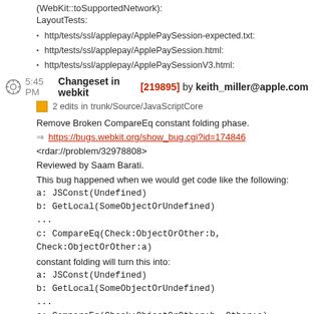http/tests/ssl/applepay/ApplePaySession-expected.txt:
http/tests/ssl/applepay/ApplePaySession.html:
http/tests/ssl/applepay/ApplePaySessionV3.html:
(WebKit::toSupportedNetwork):
LayoutTests:
5:45 PM Changeset in webkit [219895] by keith_miller@apple.com
2 edits in trunk/Source/JavaScriptCore
Remove Broken CompareEq constant folding phase.
⇒ https://bugs.webkit.org/show_bug.cgi?id=174846
<rdar://problem/32978808>
Reviewed by Saam Barati.
This bug happened when we would get code like the following:
a: JSConst(Undefined)
b: GetLocal(SomeObjectOrUndefined)
...
c: CompareEq(Check:ObjectOrOther:b, Check:ObjectOrOther:a)
constant folding will turn this into:
a: JSConst(Undefined)
b: GetLocal(SomeObjectOrUndefined)
...
c: CompareEq(Check:ObjectOrOther:b, Other:a)
But the SpeculativeJIT/FTL lowering will fail to check b properly which leads to an assertion failure in the AI.